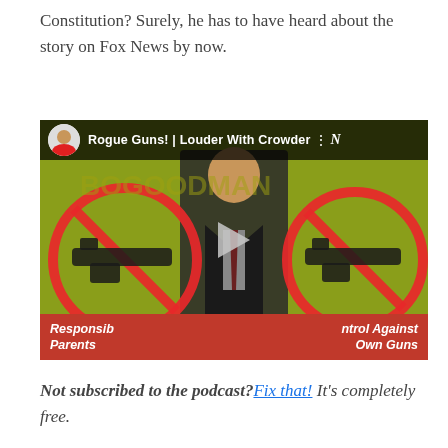Constitution? Surely, he has to have heard about the story on Fox News by now.
[Figure (screenshot): YouTube video thumbnail for 'Rogue Guns! | Louder With Crowder' showing a man in a suit standing in front of a yellow background with red 'no guns' prohibition signs. A play button is in the center. A red lower-third bar reads 'Responsible Parents ... ntrol Against Own Guns'.]
Not subscribed to the podcast? Fix that! It's completely free.